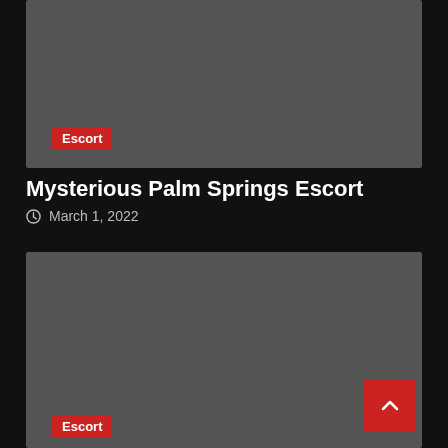[Figure (photo): Gray placeholder image for article card (top)]
Escort
Mysterious Palm Springs Escort
March 1, 2022
[Figure (photo): Gray placeholder image for article card (bottom)]
Escort